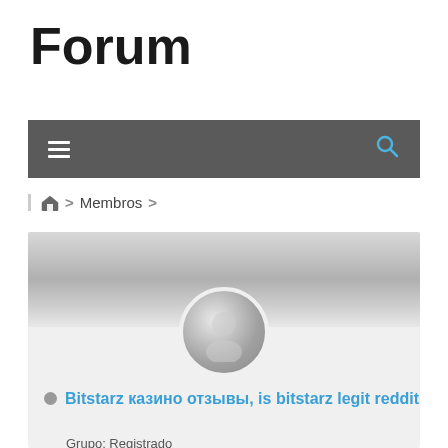Forum
[Figure (screenshot): Dark grey navigation bar with hamburger menu icon on left and search icon (blue) on right]
🏠 > Membros >
[Figure (photo): User profile card with grey gradient banner and default grey avatar silhouette]
● Bitstarz казино отзывы, is bitstarz legit reddit
Grupo: Registrado